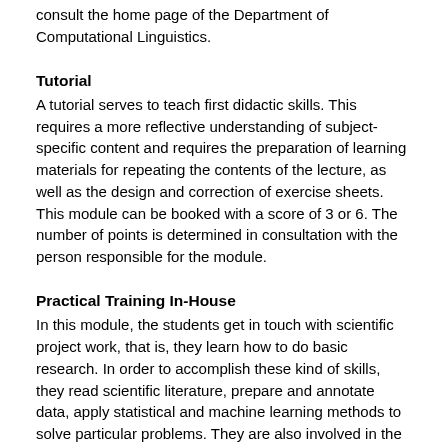consult the home page of the Department of Computational Linguistics.
Tutorial
A tutorial serves to teach first didactic skills. This requires a more reflective understanding of subject-specific content and requires the preparation of learning materials for repeating the contents of the lecture, as well as the design and correction of exercise sheets. This module can be booked with a score of 3 or 6. The number of points is determined in consultation with the person responsible for the module.
Practical Training In-House
In this module, the students get in touch with scientific project work, that is, they learn how to do basic research. In order to accomplish these kind of skills, they read scientific literature, prepare and annotate data, apply statistical and machine learning methods to solve particular problems. They are also involved in the preparation of articles for workshops and conferences. The students work on a particular (partial) problem in a scientic context or even running project. This module can be booked to credit work done in a scientific project at the UZH. This module can be booked with 6 or 9 ECTS points. The amount of points will be decided in consultation with the module coordinator.